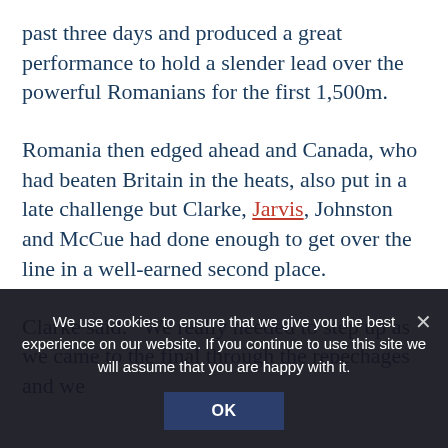past three days and produced a great performance to hold a slender lead over the powerful Romanians for the first 1,500m.
Romania then edged ahead and Canada, who had beaten Britain in the heats, also put in a late challenge but Clarke, Jarvis, Johnston and McCue had done enough to get over the line in a well-earned second place.
Clarke said: “We really needed to step up as we came to the final through the repechages and we
We use cookies to ensure that we give you the best experience on our website. If you continue to use this site we will assume that you are happy with it.